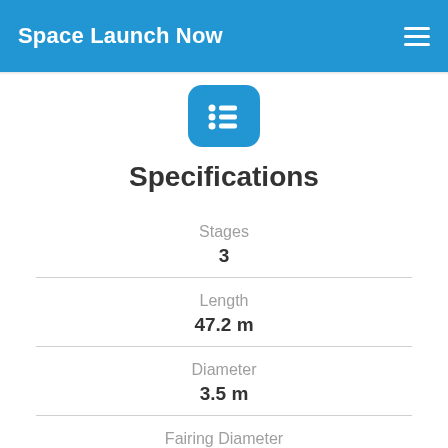Space Launch Now
[Figure (illustration): Blue rounded square icon with a bullet list symbol (three rows of dot and line), representing specifications]
Specifications
Stages
3
Length
47.2 m
Diameter
3.5 m
Fairing Diameter